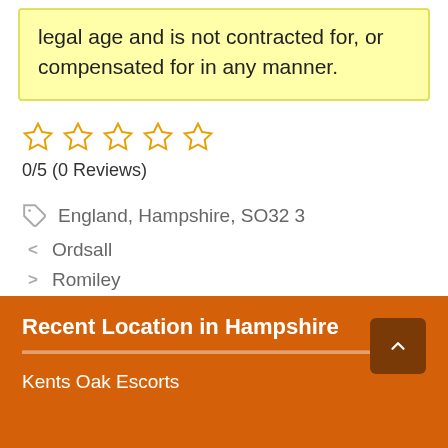legal age and is not contracted for, or compensated for in any manner.
0/5 (0 Reviews)
England, Hampshire, SO32 3
< Ordsall
> Romiley
Recent Location in Hampshire
Kents Oak Escorts